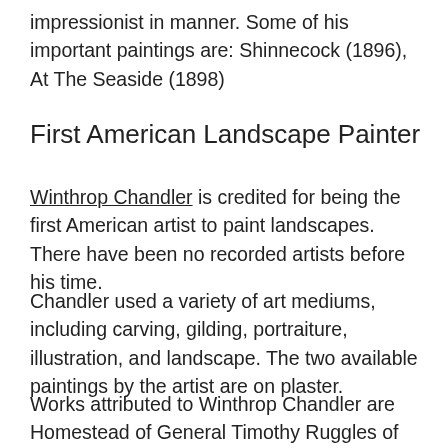impressionist in manner. Some of his important paintings are: Shinnecock (1896), At The Seaside (1898)
First American Landscape Painter
Winthrop Chandler is credited for being the first American artist to paint landscapes. There have been no recorded artists before his time.
Chandler used a variety of art mediums, including carving, gilding, portraiture, illustration, and landscape. The two available paintings by the artist are on plaster.
Works attributed to Winthrop Chandler are Homestead of General Timothy Ruggles of Hardwick (1770) and an overmantel from Elisha Hurlbut House